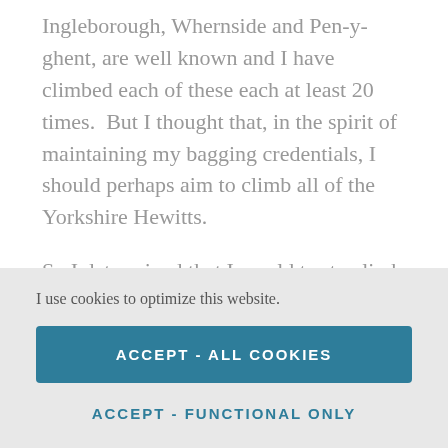Ingleborough, Whernside and Pen-y-ghent, are well known and I have climbed each of these each at least 20 times.  But I thought that, in the spirit of maintaining my bagging credentials, I should perhaps aim to climb all of the Yorkshire Hewitts.
So I determined that I would try to climb four in a day. This would involve four separate walks, two of which
I use cookies to optimize this website.
ACCEPT - ALL COOKIES
ACCEPT - FUNCTIONAL ONLY